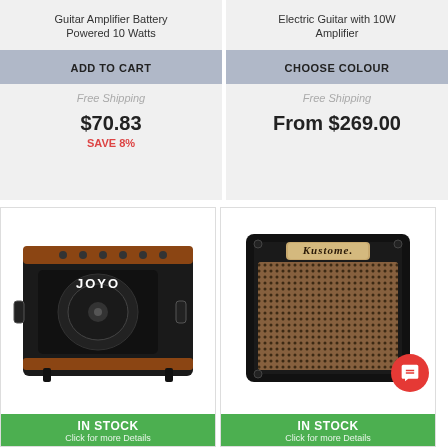Guitar Amplifier Battery Powered 10 Watts
ADD TO CART
Free Shipping
$70.83
SAVE 8%
Electric Guitar with 10W Amplifier
CHOOSE COLOUR
Free Shipping
From $269.00
[Figure (photo): JOYO brand guitar amplifier, black with brown/orange trim, front-facing with speaker grille visible]
IN STOCK
Click for more Details
[Figure (photo): Kustom brand guitar amplifier, black with brown/tan grille cloth and 'Kustom' script logo]
IN STOCK
Click for more Details